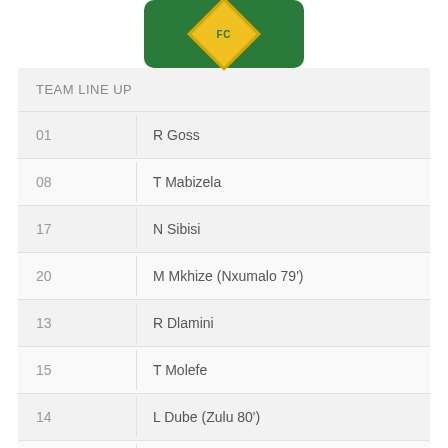[Figure (logo): FC club logo: green rounded rectangle with yellow diamond shape containing FC text]
TEAM LINE UP
01   R Goss
08   T Mabizela
17   N Sibisi
20   M Mkhize (Nxumalo 79')
13   R Dlamini
15   T Molefe
14   L Dube (Zulu 80')
02   S Mathenjwa (Magubane 80')